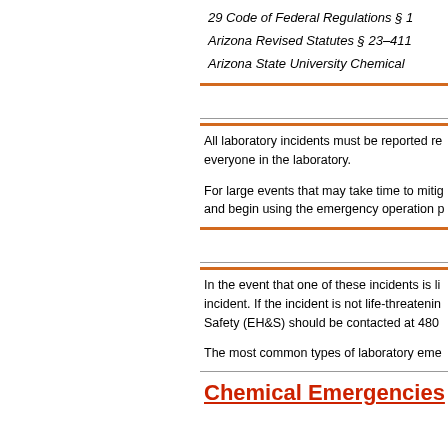29 Code of Federal Regulations § 1
Arizona Revised Statutes § 23–411
Arizona State University Chemical
All laboratory incidents must be reported re everyone in the laboratory.
For large events that may take time to mitig and begin using the emergency operation p
In the event that one of these incidents is li incident. If the incident is not life-threatenin Safety (EH&S) should be contacted at 480
The most common types of laboratory eme
Chemical Emergencies